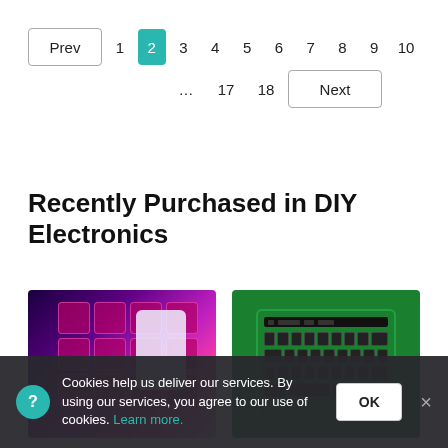Prev  1  2  3  4  5  6  7  8  9  10  ...  17  18  Next
Recently Purchased in DIY Electronics
[Figure (photo): DIY macro keypad with backlit colorful keys (pink, purple), neon glow, on a blue background, with a small white controller device]
[Figure (photo): Green PCB circuit board keyboard (BlackBerry-style layout) with black keycaps, viewed at slight angle]
Cookies help us deliver our services. By using our services, you agree to our use of cookies. Learn more.   OK